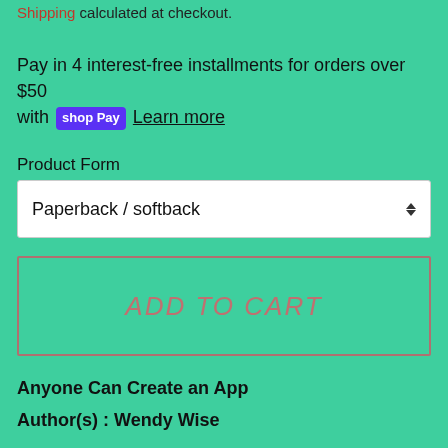Shipping calculated at checkout.
Pay in 4 interest-free installments for orders over $50 with shop Pay Learn more
Product Form
Paperback / softback
ADD TO CART
Anyone Can Create an App
Author(s): Wendy Wise